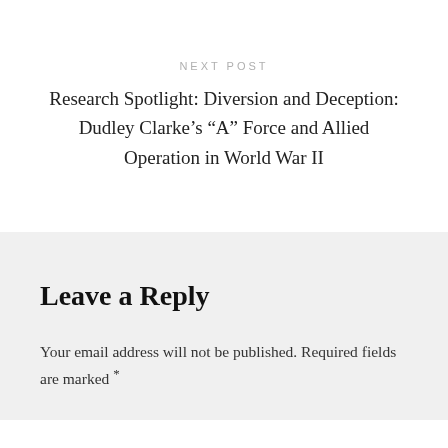NEXT POST
Research Spotlight: Diversion and Deception: Dudley Clarke’s “A” Force and Allied Operation in World War II
Leave a Reply
Your email address will not be published. Required fields are marked *